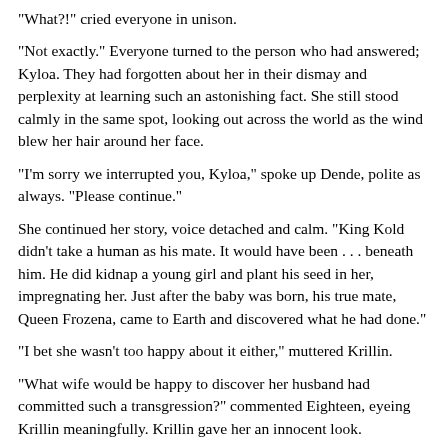"What?!" cried everyone in unison.
"Not exactly." Everyone turned to the person who had answered; Kyloa. They had forgotten about her in their dismay and perplexity at learning such an astonishing fact. She still stood calmly in the same spot, looking out across the world as the wind blew her hair around her face.
"I'm sorry we interrupted you, Kyloa," spoke up Dende, polite as always. "Please continue."
She continued her story, voice detached and calm. "King Kold didn't take a human as his mate. It would have been . . . beneath him. He did kidnap a young girl and plant his seed in her, impregnating her. Just after the baby was born, his true mate, Queen Frozena, came to Earth and discovered what he had done."
"I bet she wasn't too happy about it either," muttered Krillin.
"What wife would be happy to discover her husband had committed such a transgression?" commented Eighteen, eyeing Krillin meaningfully. Krillin gave her an innocent look.
"Queen Frozena was indeed extremely angry. And female Akidaians are much more powerful than males, so there was...